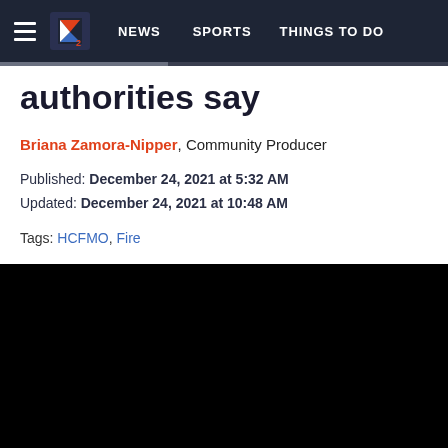NEWS   SPORTS   THINGS TO DO
authorities say
Briana Zamora-Nipper, Community Producer
Published: December 24, 2021 at 5:32 AM
Updated: December 24, 2021 at 10:48 AM
Tags: HCFMO, Fire
[Figure (photo): Black image/video area at bottom of page]